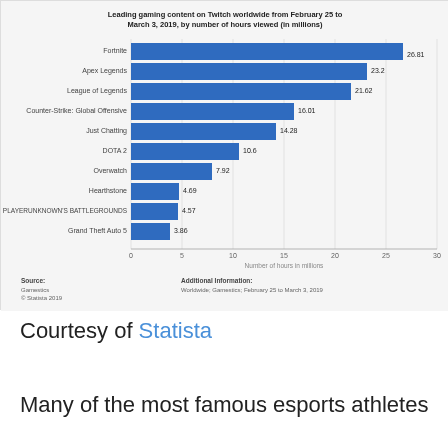[Figure (bar-chart): Leading gaming content on Twitch worldwide from February 25 to March 3, 2019, by number of hours viewed (in millions)]
Courtesy of Statista
Many of the most famous esports athletes